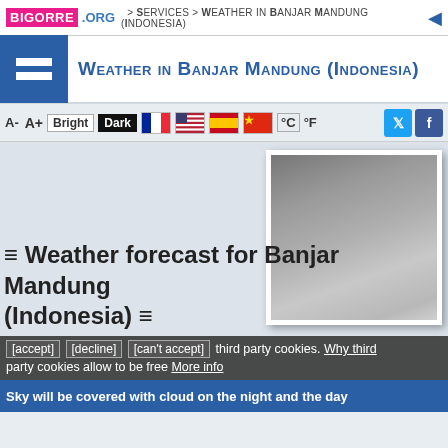BIGORRE .ORG > Services > Weather in Banjar Mandung (Indonesia)
Weather in Banjar Mandung (Indonesia)
A- A+ Bright Dark °C °F
[Figure (photo): Overcast cloudy sky photograph, dark grey and light grey clouds]
≡ Weather forecast for Banjar Mandung (Indonesia) ≡
[accept] [decline] [can't accept] third party cookies. Why third party cookies allow to be free More info
Sky will be covered with cloud on the night and the day